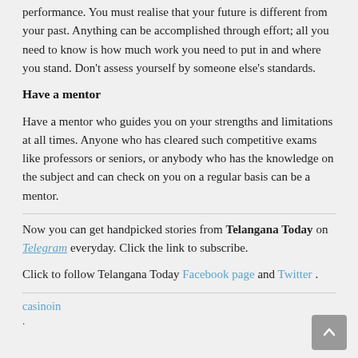performance. You must realise that your future is different from your past. Anything can be accomplished through effort; all you need to know is how much work you need to put in and where you stand. Don't assess yourself by someone else's standards.
Have a mentor
Have a mentor who guides you on your strengths and limitations at all times. Anyone who has cleared such competitive exams like professors or seniors, or anybody who has the knowledge on the subject and can check on you on a regular basis can be a mentor.
Now you can get handpicked stories from Telangana Today on Telegram everyday. Click the link to subscribe.
Click to follow Telangana Today Facebook page and Twitter .
casinoin
.